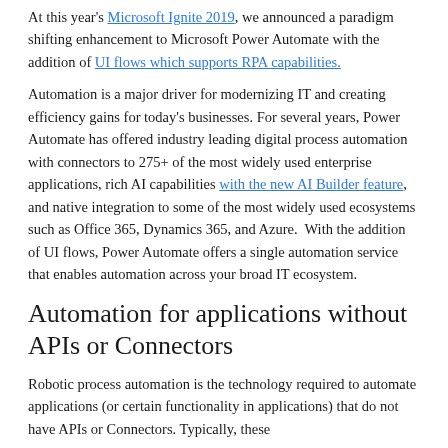At this year's Microsoft Ignite 2019, we announced a paradigm shifting enhancement to Microsoft Power Automate with the addition of UI flows which supports RPA capabilities.
Automation is a major driver for modernizing IT and creating efficiency gains for today's businesses. For several years, Power Automate has offered industry leading digital process automation with connectors to 275+ of the most widely used enterprise applications, rich AI capabilities with the new AI Builder feature, and native integration to some of the most widely used ecosystems such as Office 365, Dynamics 365, and Azure.  With the addition of UI flows, Power Automate offers a single automation service that enables automation across your broad IT ecosystem.
Automation for applications without APIs or Connectors
Robotic process automation is the technology required to automate applications (or certain functionality in applications) that do not have APIs or Connectors. Typically, these